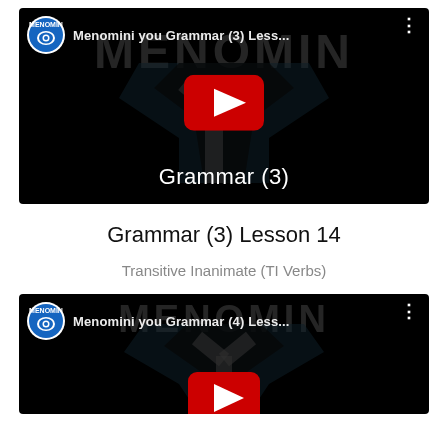[Figure (screenshot): YouTube video thumbnail for Menomini you Grammar (3) Lesson. Black background with MENOMIN logo watermark, channel logo top-left, play button, and 'Grammar (3)' text at bottom.]
Grammar (3) Lesson 14
Transitive Inanimate (TI Verbs)
[Figure (screenshot): YouTube video thumbnail for Menomini you Grammar (4) Lesson. Black background with MENOMIN logo watermark, channel logo top-left, and partial red play button visible.]